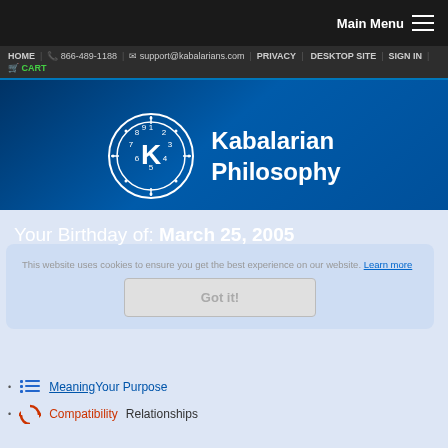Main Menu
HOME | 866-489-1188 | support@kabalarians.com | PRIVACY | DESKTOP SITE | SIGN IN | CART
[Figure (logo): Kabalarian Philosophy logo with clock-like circular symbol and K letter, white on blue gradient background]
Your Birthday of: March 25, 2005
This website uses cookies to ensure you get the best experience on our website. Learn more
Got it!
Meaning Your Purpose
Compatibility Relationships